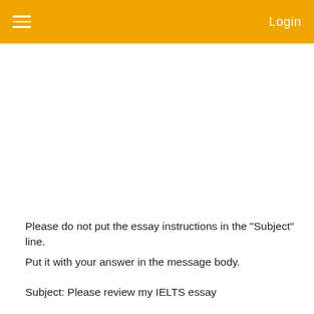Login
Please do not put the essay instructions in the "Subject" line.
Put it with your answer in the message body.
Subject: Please review my IELTS essay
Message body:
Topic: